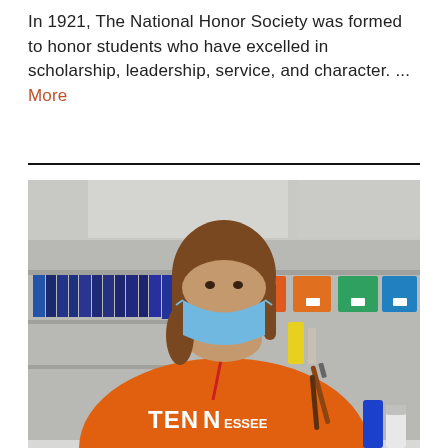In 1921, The National Honor Society was formed to honor students who have excelled in scholarship, leadership, service, and character. ... More
[Figure (photo): A student wearing an orange Tennessee shirt and a blue face mask, holding paintbrushes, standing in front of shelves with books and supplies in what appears to be a classroom or art room.]